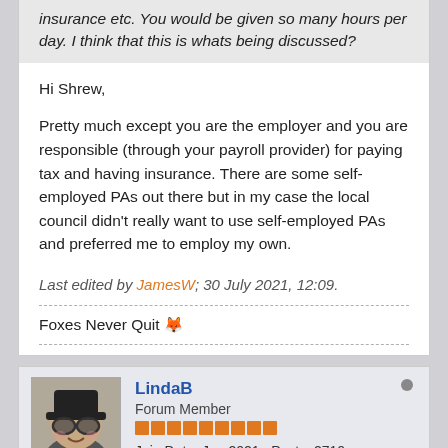insurance etc. You would be given so many hours per day. I think that this is whats being discussed?
Hi Shrew,

Pretty much except you are the employer and you are responsible (through your payroll provider) for paying tax and having insurance. There are some self-employed PAs out there but in my case the local council didn't really want to use self-employed PAs and preferred me to employ my own.
Last edited by JamesW; 30 July 2021, 12:09.
Foxes Never Quit 🦊
LindaB
Forum Member
Join Date: Jun 2021   Posts: 2710